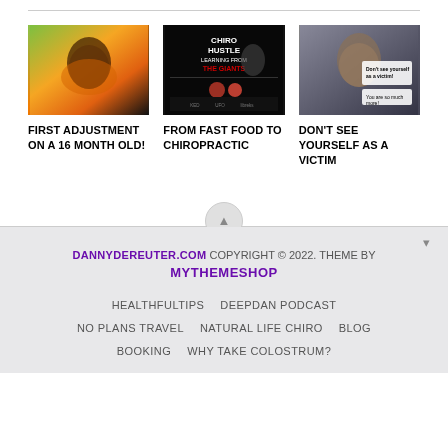[Figure (photo): Photo of a young Black child smiling, wearing an orange shirt, on playground equipment]
FIRST ADJUSTMENT ON A 16 MONTH OLD!
[Figure (photo): Dark promotional image for Chiro Hustle podcast - Learning From The Giants, Episode 252 with Dr. Danny Dareuter]
FROM FAST FOOD TO CHIROPRACTIC
[Figure (photo): Man with text overlay: Don't see yourself as a victim! You are so much more!]
DON'T SEE YOURSELF AS A VICTIM
DANNYDEREUTER.COM COPYRIGHT © 2022. THEME BY MYTHEMESHOP
HEALTHFULTIPS   DEEPDAN PODCAST   NO PLANS TRAVEL   NATURAL LIFE CHIRO   BLOG   BOOKING   WHY TAKE COLOSTRUM?